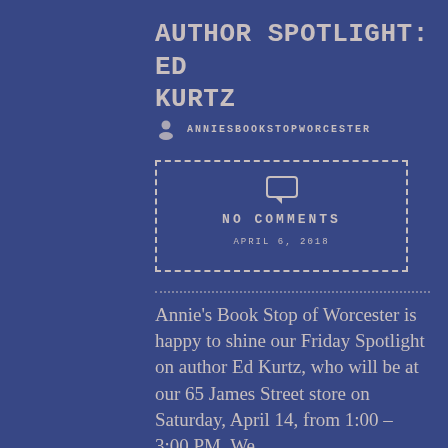AUTHOR SPOTLIGHT: ED KURTZ
ANNIESBOOKSTOPWORCESTER
NO COMMENTS
APRIL 6, 2018
Annie's Book Stop of Worcester is happy to shine our Friday Spotlight on author Ed Kurtz, who will be at our 65 James Street store on Saturday, April 14, from 1:00 – 3:00 PM. We…